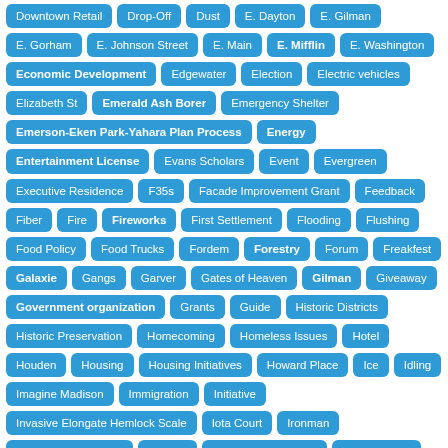Downtown Retail
Drop-Off
Dust
E. Dayton
E. Gilman
E. Gorham
E. Johnson Street
E. Main
E. Mifflin
E. Washington
Economic Development
Edgewater
Election
Electric vehicles
Elizabeth St
Emerald Ash Borer
Emergency Shelter
Emerson-Eken Park-Yahara Plan Process
Energy
Entertainment License
Evans Scholars
Event
Evergreen
Executive Residence
F35s
Facade Improvement Grant
Feedback
Fiber
Fire
Fireworks
First Settlement
Flooding
Flushing
Food Policy
Food Trucks
Fordem
Forestry
Forum
Freakfest
Galaxie
Gangs
Garver
Gates of Heaven
Gilman
Giveaway
Government organization
Grants
Guide
Historic Districts
Historic Preservation
Homecoming
Homeless Issues
Hotel
Houden
Housing
Housing Initiatives
Howard Place
Ice
Idling
Imagine Madison
Immigration
Initiative
Invasive Elongate Hemlock Scale
Iota Court
Ironman
James Madison Park
Jean St
Judge Doyle Square
Knapp House
Lakes
Lamp House Block Plan ad hoc Committee
Landlord
Landmarks
Landmarks Ordinance
Langdon Street
Leaf Collection
Lighting
Livingston
Local Preemption
Lyric